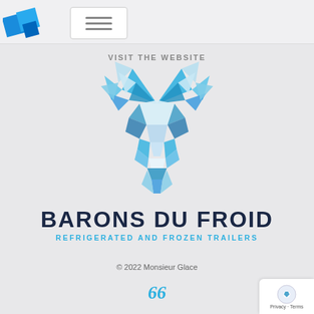[Figure (logo): Blue stacked tiles logo icon in top left corner]
[Figure (other): Hamburger menu icon (three horizontal lines) inside a white rounded rectangle]
VISIT THE WEBSITE
[Figure (illustration): Geometric low-poly deer/stag head made of blue and white triangular facets — the Barons du Froid logo mascot]
BARONS DU FROID
REFRIGERATED AND FROZEN TRAILERS
© 2022 Monsieur Glace
[Figure (logo): Stylized double-quote '66' icon in light blue]
[Figure (other): Privacy & Terms badge with circular blue icon in bottom right corner]